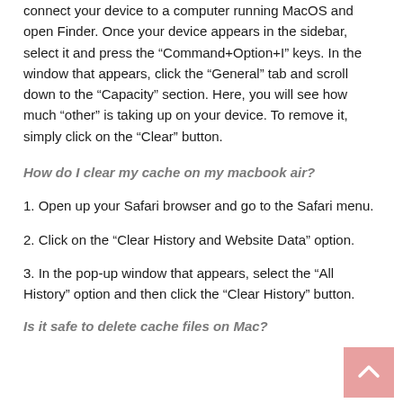connect your device to a computer running MacOS and open Finder. Once your device appears in the sidebar, select it and press the “Command+Option+I” keys. In the window that appears, click the “General” tab and scroll down to the “Capacity” section. Here, you will see how much “other” is taking up on your device. To remove it, simply click on the “Clear” button.
How do I clear my cache on my macbook air?
1. Open up your Safari browser and go to the Safari menu.
2. Click on the “Clear History and Website Data” option.
3. In the pop-up window that appears, select the “All History” option and then click the “Clear History” button.
Is it safe to delete cache files on Mac?